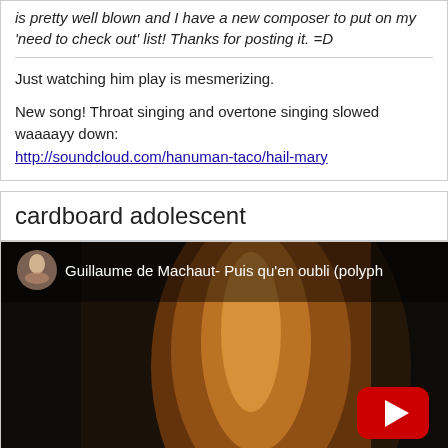is pretty well blown and I have a new composer to put on my 'need to check out' list! Thanks for posting it. =D
Just watching him play is mesmerizing.
New song! Throat singing and overtone singing slowed waaaayy down: http://soundcloud.com/hanuman-taco/hail-mary
cardboard adolescent
[Figure (screenshot): YouTube video embed showing 'Guillaume de Machaut- Puis qu'en oubli (polyph...' with a dark golden/amber archway background image and a red YouTube play button in the center-right area.]